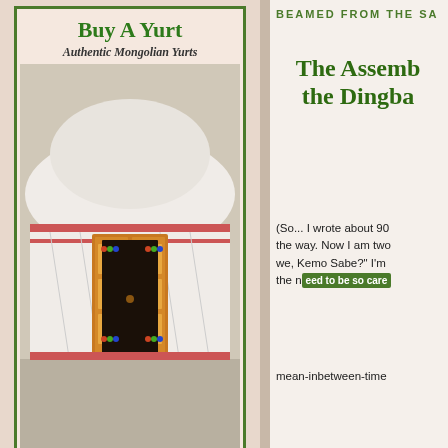[Figure (illustration): Advertisement for 'Buy A Yurt' showing a Mongolian yurt with decorative wooden door and text 'Authentic Mongolian Yurts']
NATURAL AWAKENINGS
[Figure (photo): Natural Awakenings magazine cover showing 'natural awakenings' text in pink, 'HEALTHY LIVING HEALTHY PLANET', 'FITNESS Special Edition', 'FREE']
BEAMED FROM THE SA
The Assemb the Dingba
(So... I wrote about 90 the way. Now I am two we, Kemo Sabe?" I'm the need to be so care mean-inbetween-time
Scroll to Top